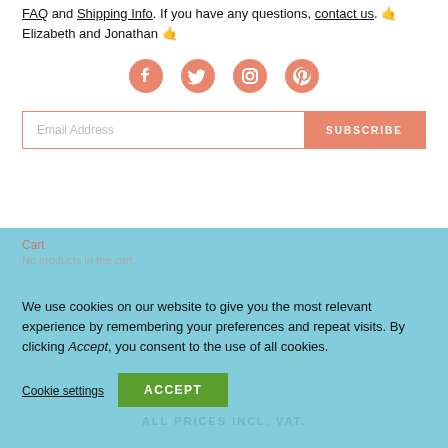FAQ and Shipping Info. If you have any questions, contact us. 🤙 Elizabeth and Jonathan 🤙
[Figure (infographic): Social media icons: Facebook, Twitter, Instagram, Pinterest in salmon/coral color]
[Figure (screenshot): Email subscription form with 'Email Address' placeholder input and coral 'SUBSCRIBE' button]
Cart
No products in the cart.
We use cookies on our website to give you the most relevant experience by remembering your preferences and repeat visits. By clicking Accept, you consent to the use of all cookies.
Cookie settings
ACCEPT
ALL PRICES INCL. VAT.